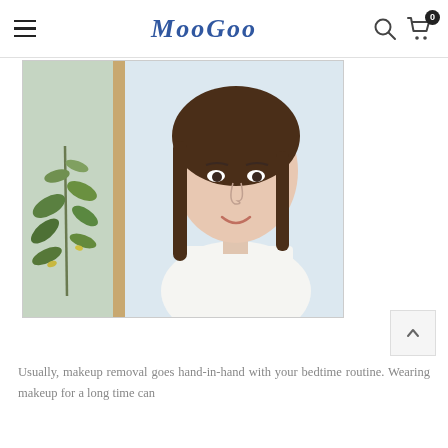MooGoo — navigation with hamburger menu, search icon, and cart (0)
[Figure (photo): A young woman with dark hair wearing a white top, smiling, standing in front of a light-coloured background with a plant with olive-like leaves on the left side.]
Usually, makeup removal goes hand-in-hand with your bedtime routine. Wearing makeup for a long time can